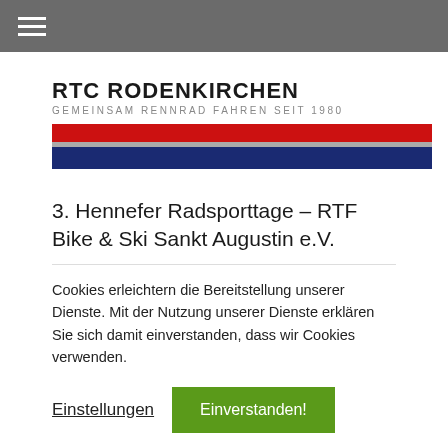≡ (hamburger menu)
RTC RODENKIRCHEN
GEMEINSAM RENNRAD FAHREN SEIT 1980
[Figure (other): Decorative color bars: red stripe, thin gray stripe, navy blue stripe]
3. Hennefer Radsporttage – RTF Bike & Ski Sankt Augustin e.V.
Cookies erleichtern die Bereitstellung unserer Dienste. Mit der Nutzung unserer Dienste erklären Sie sich damit einverstanden, dass wir Cookies verwenden.
Einstellungen   Einverstanden!